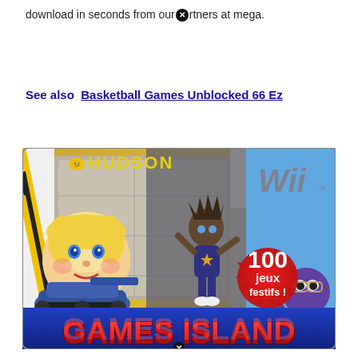download in seconds from our partners at mega.
See also  Basketball Games Unblocked 66 Ez
[Figure (photo): Wii game cover for 'Games Island' by Hudson. Shows colorful cartoon Mii characters, a tank, a dancer, an octopus. Badge reading '100 jeux festifs!' in bottom right. Hudson and Wii logos visible at top.]